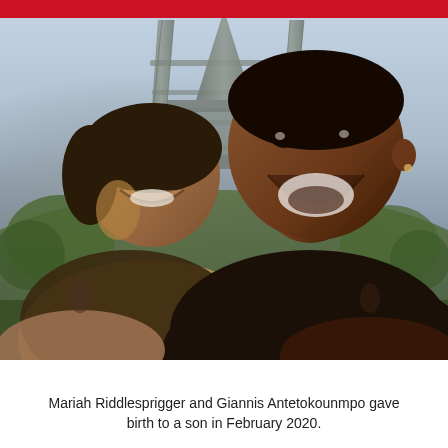[Figure (photo): Selfie photo of Mariah Riddlesprigger and Giannis Antetokounmpo smiling in front of the Eiffel Tower in Paris. A woman on the left and a tall man on the right, both smiling widely. Green trees and park visible in background.]
Mariah Riddlesprigger and Giannis Antetokounmpo gave birth to a son in February 2020.